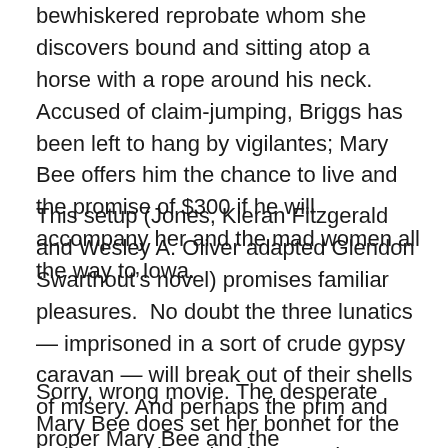bewhiskered reprobate whom she discovers bound and sitting atop a horse with a rope around his neck.  Accused of claim-jumping, Briggs has been left to hang by vigilantes; Mary Bee offers him the chance to live and the promise of $300 if he will accompany her and the mad women all the way to Iowa.
This setup (Jones, Kieran Fitzgerald and Wesley A. Oliver adapted Glendon Swarthout's novel) promises familiar pleasures.  No doubt the three lunatics — imprisoned in a sort of crude gypsy caravan — will break out of their shells of misery. And perhaps the prim and proper Mary Bee and the curmudgeonly Briggs will hit it off after an initial round of antipathy.  It'll be a landlocked “African Queen.”
Sorry, wrong movie. The desperate Mary Bee does set her bonnet for the well-worn Briggs, but he's not the marrying kind. Moreover, “The Homesman” is a darker, grimmer...